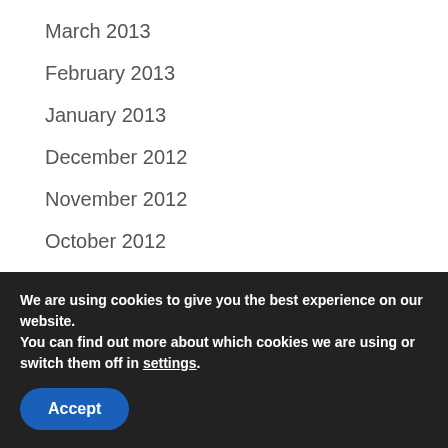March 2013
February 2013
January 2013
December 2012
November 2012
October 2012
September 2012
August 2012
July 2012
June 2012
We are using cookies to give you the best experience on our website.
You can find out more about which cookies we are using or switch them off in settings.
Accept